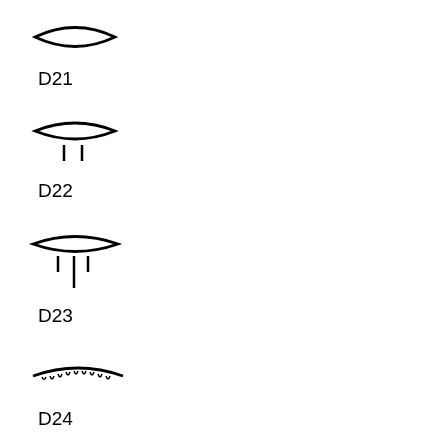[Figure (illustration): Egyptian hieroglyph D21 - eye shape (plain eye, no lashes), almond/lens shape]
D21
[Figure (illustration): Egyptian hieroglyph D22 - eye with two short legs/lines hanging below]
D22
[Figure (illustration): Egyptian hieroglyph D23 - eye with longer legs hanging below, one longer center line]
D23
[Figure (illustration): Egyptian hieroglyph D24 - eyebrow symbol, arched shape with hatching/lines below]
D24